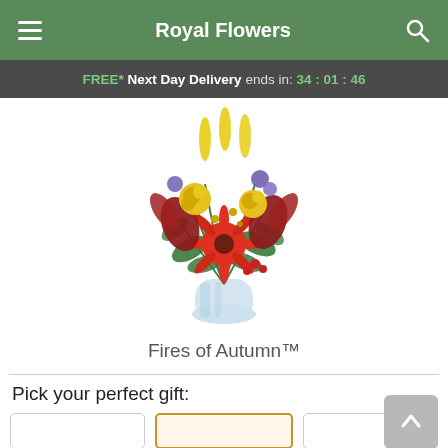Royal Flowers
FREE* Next Day Delivery ends in: 34 : 01 : 46
[Figure (photo): A colorful autumn flower bouquet in a glass vase featuring red gerbera daisies, red stargazer lilies, yellow roses, yellow lilies, purple flowers, and green foliage.]
Fires of Autumn™
Pick your perfect gift: